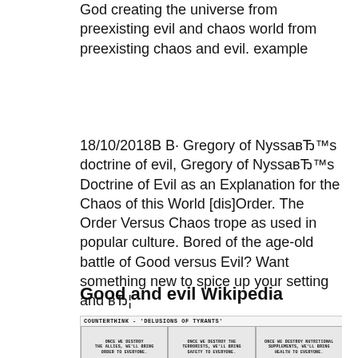God creating the universe from preexisting evil and chaos world from preexisting chaos and evil. example
18/10/2018В В· Gregory of NyssaвЂ™s doctrine of evil, Gregory of NyssaвЂ™s Doctrine of Evil as an Explanation for the Chaos of this World [dis]Order. The Order Versus Chaos trope as used in popular culture. Bored of the age-old battle of Good versus Evil? Want something new to spice up your setting and вЂ¦
Good and evil Wikipedia
[Figure (illustration): COUNTERTHINK comic strip titled 'DELUSIONS OF TYRANTS' with three panels. Panel 1: 'ONCE WE DESTROY THE ALLIES, WE'LL BRING ORDER TO EVERYONE.' Panel 2: 'ONCE WE DESTROY THE TERRORISTS, WE'LL BRING SAFETY TO EVERYONE.' Panel 3: 'ONCE WE DESTROY NUTRITIONAL SUPPLEMENTS, WE'LL BRING HEALTH TO EVERYONE.']